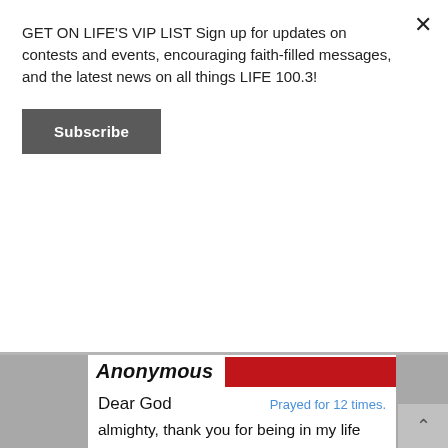GET ON LIFE'S VIP LIST Sign up for updates on contests and events, encouraging faith-filled messages, and the latest news on all things LIFE 100.3!
Subscribe
Anonymous
Dear God
Prayed for 12 times.
almighty, thank you for being in my life and providing for me. Dear Lord I fear my brother is going down a path he will regret, it is unfruitful, full of isolation, and control. Dear Lord I pray the Holy spirit intervenes because only you can restore/open his eyes. My family is deeply troubled and scared for him.